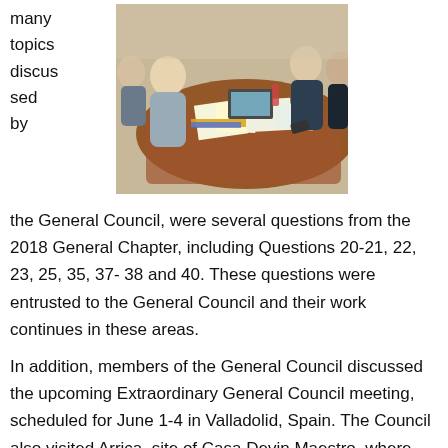many topics discussed by
[Figure (photo): People seated around a wooden conference table with papers, folders, and laptops, appearing to be in a meeting]
the General Council, were several questions from the 2018 General Chapter, including Questions 20-21, 22, 23, 25, 35, 37- 38 and 40. These questions were entrusted to the General Council and their work continues in these areas.
In addition, members of the General Council discussed the upcoming Extraordinary General Council meeting, scheduled for June 1-4 in Valladolid, Spain. The Council also visited Arrica, site of Casa Devin Maestro, where the 2024 General Chapter will be held.